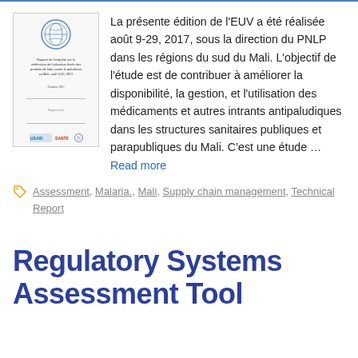[Figure (illustration): Thumbnail image of a report cover document with a circular logo at the top, French text title about EUV verification of malaria products in Mali, partner logos at bottom including USAID and others.]
La présente édition de l'EUV a été réalisée août 9-29, 2017, sous la direction du PNLP dans les régions du sud du Mali. L'objectif de l'étude est de contribuer à améliorer la disponibilité, la gestion, et l'utilisation des médicaments et autres intrants antipaludiques dans les structures sanitaires publiques et parapubliques du Mali. C'est une étude … Read more
Assessment, Malaria., Mali, Supply chain management, Technical Report
Regulatory Systems Assessment Tool